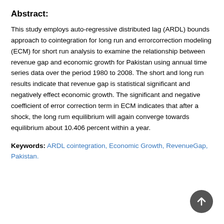Abstract:
This study employs auto-regressive distributed lag (ARDL) bounds approach to cointegration for long run and errorcorrection modeling (ECM) for short run analysis to examine the relationship between revenue gap and economic growth for Pakistan using annual time series data over the period 1980 to 2008. The short and long run results indicate that revenue gap is statistical significant and negatively effect economic growth. The significant and negative coefficient of error correction term in ECM indicates that after a shock, the long rum equilibrium will again converge towards equilibrium about 10.406 percent within a year.
Keywords: ARDL cointegration, Economic Growth, RevenueGap, Pakistan.